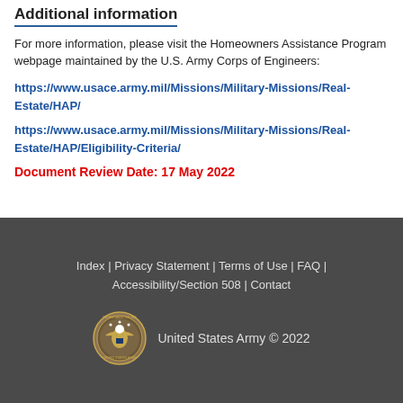Additional information
For more information, please visit the Homeowners Assistance Program webpage maintained by the U.S. Army Corps of Engineers:
https://www.usace.army.mil/Missions/Military-Missions/Real-Estate/HAP/
https://www.usace.army.mil/Missions/Military-Missions/Real-Estate/HAP/Eligibility-Criteria/
Document Review Date: 17 May 2022
Index | Privacy Statement | Terms of Use | FAQ | Accessibility/Section 508 | Contact
United States Army © 2022